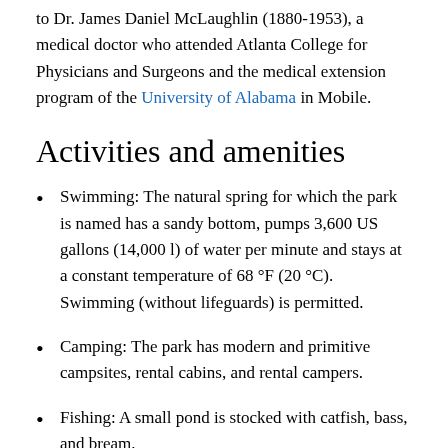to Dr. James Daniel McLaughlin (1880-1953), a medical doctor who attended Atlanta College for Physicians and Surgeons and the medical extension program of the University of Alabama in Mobile.
Activities and amenities
Swimming: The natural spring for which the park is named has a sandy bottom, pumps 3,600 US gallons (14,000 l) of water per minute and stays at a constant temperature of 68 °F (20 °C). Swimming (without lifeguards) is permitted.
Camping: The park has modern and primitive campsites, rental cabins, and rental campers.
Fishing: A small pond is stocked with catfish, bass, and bream.
Picnicking: The park has picnicking facilities including...